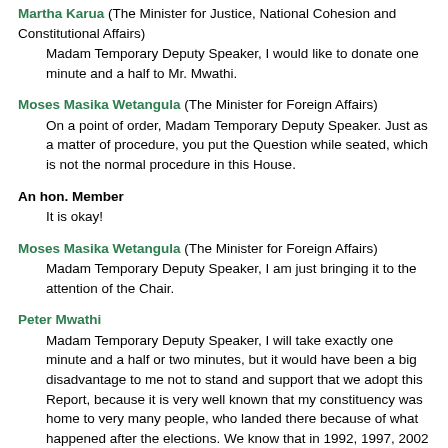Martha Karua (The Minister for Justice, National Cohesion and Constitutional Affairs)
Madam Temporary Deputy Speaker, I would like to donate one minute and a half to Mr. Mwathi.
Moses Masika Wetangula (The Minister for Foreign Affairs)
On a point of order, Madam Temporary Deputy Speaker. Just as a matter of procedure, you put the Question while seated, which is not the normal procedure in this House.
An hon. Member
It is okay!
Moses Masika Wetangula (The Minister for Foreign Affairs)
Madam Temporary Deputy Speaker, I am just bringing it to the attention of the Chair.
Peter Mwathi
Madam Temporary Deputy Speaker, I will take exactly one minute and a half or two minutes, but it would have been a big disadvantage to me not to stand and support that we adopt this Report, because it is very well known that my constituency was home to very many people, who landed there because of what happened after the elections. We know that in 1992, 1997, 2002